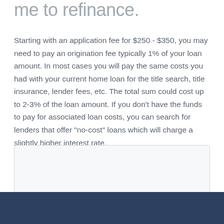me to refinance.
Starting with an application fee for $250 - $350, you may need to pay an origination fee typically 1% of your loan amount. In most cases you will pay the same costs you had with your current home loan for the title search, title insurance, lender fees, etc. The total sum could cost up to 2-3% of the loan amount. If you don't have the funds to pay for associated loan costs, you can search for lenders that offer "no-cost" loans which will charge a slightly higher interest rate.
[Figure (other): Empty rounded rectangle box with light gray background and border, placeholder region]